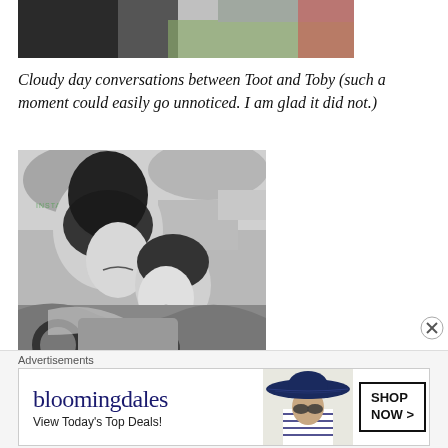[Figure (photo): Top portion of a black and white photo showing a dark shape against a lighter background, partially cropped]
Cloudy day conversations between Toot and Toby (such a moment could easily go unnoticed.  I am glad it did not.)
[Figure (photo): Black and white photo of two children cuddling together under a blanket outdoors on a cloudy day. The older child with long dark hair leans over the younger child who rests against them.]
Advertisements
[Figure (screenshot): Bloomingdale's advertisement banner. Shows the Bloomingdale's logo, text 'View Today's Top Deals!', a woman wearing a large dark hat, and a 'SHOP NOW >' button.]